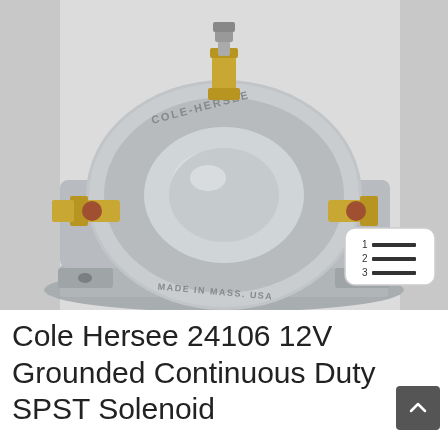[Figure (photo): Cole Hersee 24106 solenoid switch - a silver/chrome circular solenoid body with brass terminal studs and nuts, mounted on a steel bracket with bolt holes. The front face is engraved with 'COLE-HERSEE' and 'MADE IN MASS. USA'. A small numbered list icon overlay appears in the lower-right of the image.]
Cole Hersee 24106 12V Grounded Continuous Duty SPST Solenoid